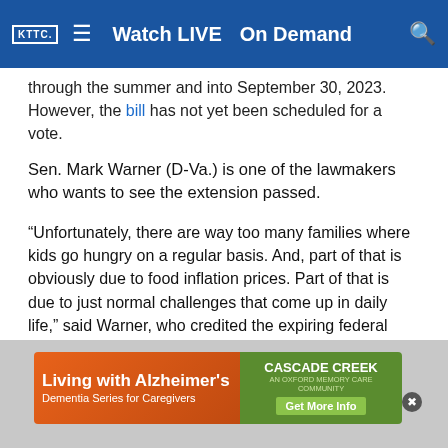KTTC  ≡  Watch LIVE  On Demand  🔍
through the summer and into September 30, 2023. However, the bill has not yet been scheduled for a vote.
Sen. Mark Warner (D-Va.) is one of the lawmakers who wants to see the extension passed.
“Unfortunately, there are way too many families where kids go hungry on a regular basis. And, part of that is obviously due to food inflation prices. Part of that is due to just normal challenges that come up in daily life,” said Warner, who credited the expiring federal program with cutting government bureaucracy throughout the pandemic.
Warner believes families need more time to recover.
[Figure (screenshot): Advertisement banner for 'Living with Alzheimer's Dementia Series for Caregivers' by Cascade Creek with 'Get More Info' button]